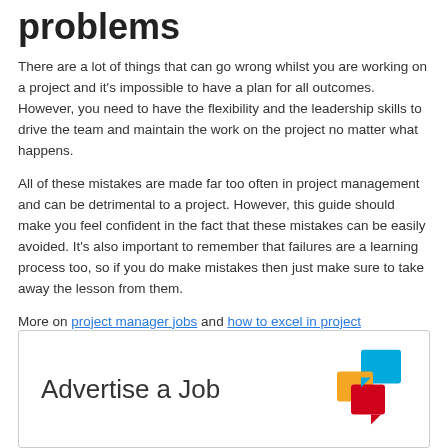problems
There are a lot of things that can go wrong whilst you are working on a project and it's impossible to have a plan for all outcomes. However, you need to have the flexibility and the leadership skills to drive the team and maintain the work on the project no matter what happens.
All of these mistakes are made far too often in project management and can be detrimental to a project. However, this guide should make you feel confident in the fact that these mistakes can be easily avoided. It's also important to remember that failures are a learning process too, so if you do make mistakes then just make sure to take away the lesson from them.
More on project manager jobs and how to excel in project management.
Advertise a Job